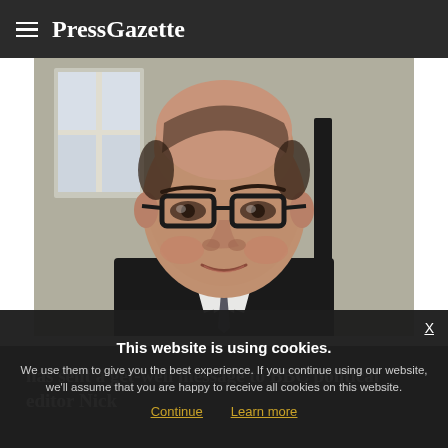PressGazette
[Figure (photo): Headshot of a middle-aged bald man wearing dark-rimmed glasses and a dark suit jacket, photographed outdoors near a building with white window frames.]
This website is using cookies.
We use them to give you the best experience. If you continue using our website, we'll assume that you are happy to receive all cookies on this website.
Continue   Learn more
has sent a get-well message to BBC political editor Nick